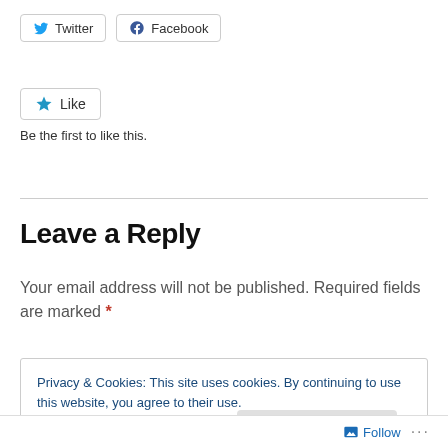[Figure (other): Twitter and Facebook share buttons]
[Figure (other): Like button with star icon and 'Be the first to like this.' text]
Be the first to like this.
Leave a Reply
Your email address will not be published. Required fields are marked *
Privacy & Cookies: This site uses cookies. By continuing to use this website, you agree to their use.
To find out more, including how to control cookies, see here: Cookie Policy
Close and accept
Follow ...